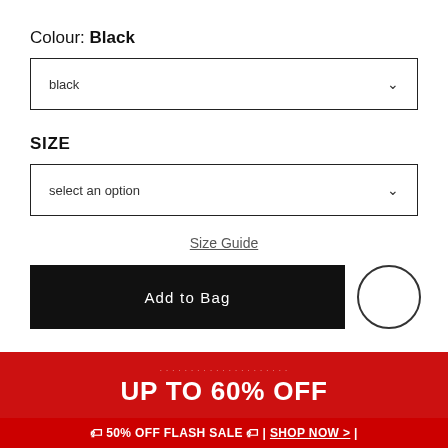Colour: Black
black (dropdown)
SIZE
select an option (dropdown)
Size Guide
Add to Bag
UP TO 60% OFF
🏷 50% OFF FLASH SALE 🏷 | SHOP NOW >
– Ends In 1D 7H 34M 4S